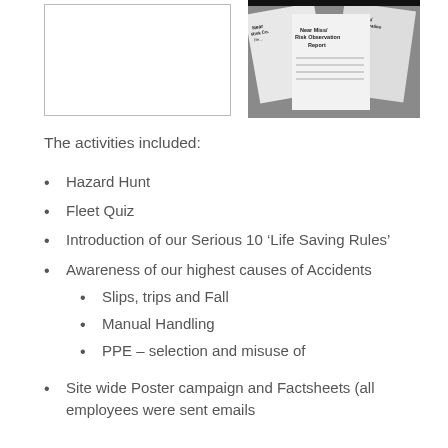[Figure (photo): Blank white placeholder box on left, photo of Near Miss/Risk Observation Report forms/papers on right]
The activities included:
Hazard Hunt
Fleet Quiz
Introduction of our Serious 10 ‘Life Saving Rules’
Awareness of our highest causes of Accidents
Slips, trips and Fall
Manual Handling
PPE – selection and misuse of
Site wide Poster campaign and Factsheets (all employees were sent emails